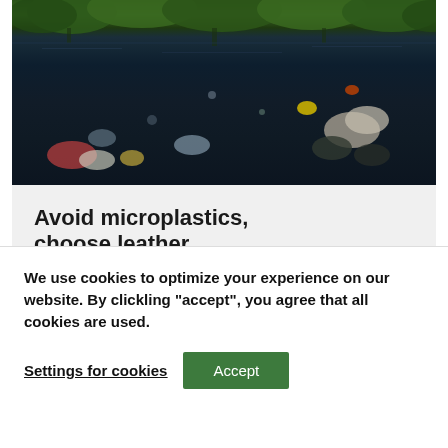[Figure (photo): Polluted water body with plastic debris, litter floating on dark water surface, trees and vegetation reflected in background]
Avoid microplastics, choose leather
1 June, 2022
We use cookies to optimize your experience on our website. By clickling "accept", you agree that all cookies are used.
Settings for cookies   Accept